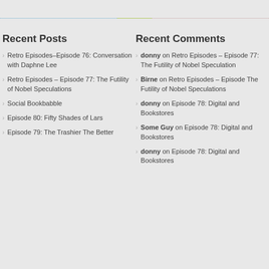Recent Posts
Retro Episodes–Episode 76: Conversation with Daphne Lee
Retro Episodes – Episode 77: The Futility of Nobel Speculations
Social Bookbabble
Episode 80: Fifty Shades of Lars
Episode 79: The Trashier The Better
Recent Comments
donny on Retro Episodes – Episode 77: The Futility of Nobel Speculation
Birne on Retro Episodes – Episode The Futility of Nobel Speculations
donny on Episode 78: Digital and Bookstores
Some Guy on Episode 78: Digital and Bookstores
donny on Episode 78: Digital and Bookstores